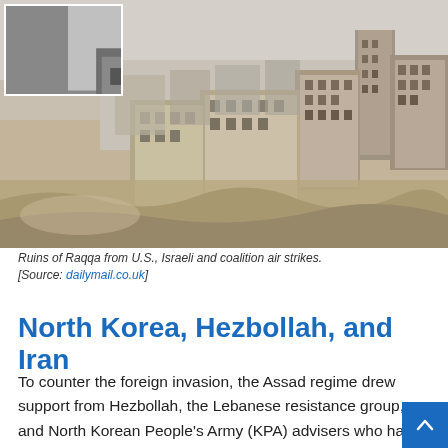[Figure (photo): Aerial photograph of the ruins of Raqqa showing destroyed and damaged buildings across a wide urban area, from U.S., Israeli and coalition air strikes. A black-and-white inset photo in the top-left corner shows a closer view of destroyed buildings.]
Ruins of Raqqa from U.S., Israeli and coalition air strikes. [Source: dailymail.co.uk]
North Korea, Hezbollah, and Iran
To counter the foreign invasion, the Assad regime drew support from Hezbollah, the Lebanese resistance group, and North Korean People's Army (KPA) advisers who had fought alongside the Syrian Arab Army (SAA) in all its major wars